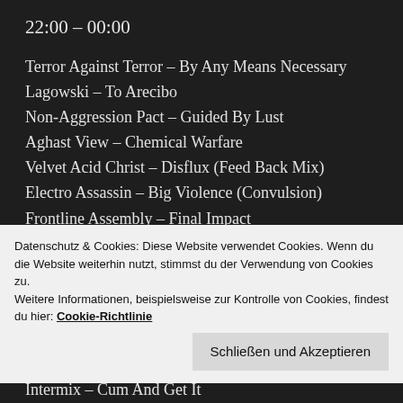22:00 – 00:00
Terror Against Terror – By Any Means Necessary
Lagowski – To Arecibo
Non-Aggression Pact – Guided By Lust
Aghast View – Chemical Warfare
Velvet Acid Christ – Disflux (Feed Back Mix)
Electro Assassin – Big Violence (Convulsion)
Frontline Assembly – Final Impact
Revolting Cocks – Attack Ships On Fire
Acid Horse – No Name, No Slogan
Datenschutz & Cookies: Diese Website verwendet Cookies. Wenn du die Website weiterhin nutzt, stimmst du der Verwendung von Cookies zu. Weitere Informationen, beispielsweise zur Kontrolle von Cookies, findest du hier: Cookie-Richtlinie
Schließen und Akzeptieren
Intermix – Cum And Get It